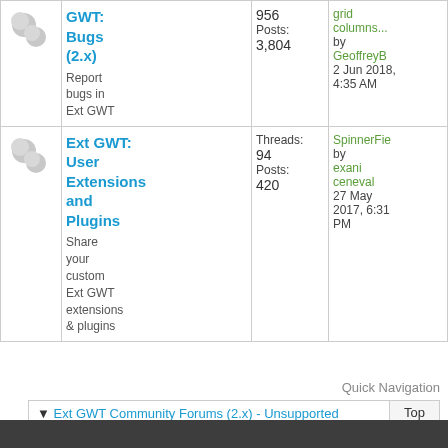| Icon | Forum | Stats | Last Post |
| --- | --- | --- | --- |
| [icon] | GWT: Bugs (2.x)
Report bugs in Ext GWT | Threads: 956
Posts: 3,804 | grid columns...
by GeoffreyB
2 Jun 2018, 4:35 AM |
| [icon] | Ext GWT: User Extensions and Plugins
Share your custom Ext GWT extensions & plugins | Threads: 94
Posts: 420 | SpinnerFie
by exaniceneval
27 May 2017, 6:31 PM |
Quick Navigation
▾ Ext GWT Community Forums (2.x) - Unsupported
Top